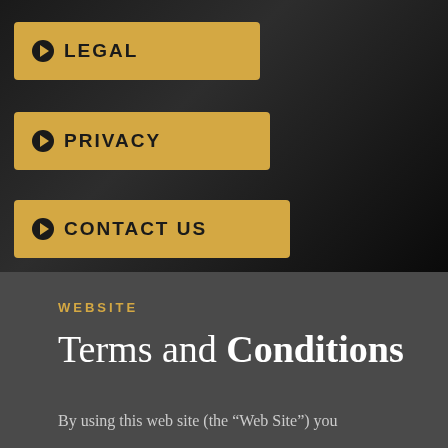LEGAL
PRIVACY
CONTACT US
WEBSITE
Terms and Conditions
By using this web site (the “Web Site”) you